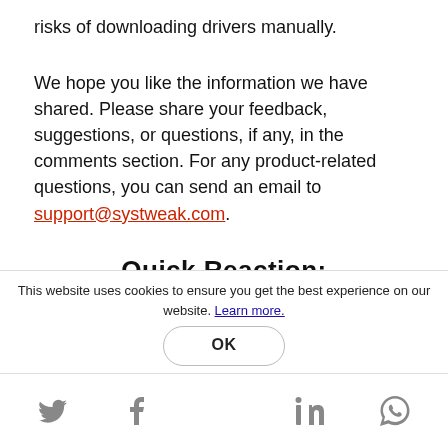risks of downloading drivers manually.
We hope you like the information we have shared. Please share your feedback, suggestions, or questions, if any, in the comments section. For any product-related questions, you can send an email to support@systweak.com.
Quick Reaction:
[Figure (infographic): Two reaction buttons: a green thumbs up on a light gray background and a red thumbs down on a light gray background]
This website uses cookies to ensure you get the best experience on our website. Learn more.
OK
[Figure (infographic): Social media icons: Twitter, Facebook, LinkedIn, WhatsApp]